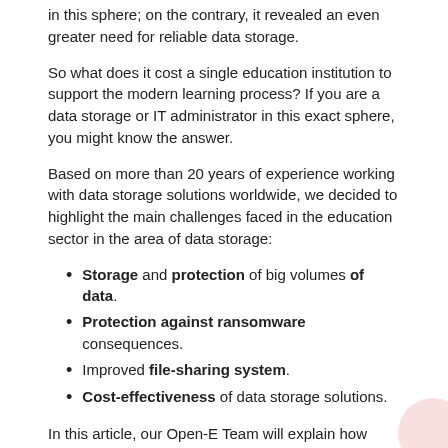in this sphere; on the contrary, it revealed an even greater need for reliable data storage.
So what does it cost a single education institution to support the modern learning process? If you are a data storage or IT administrator in this exact sphere, you might know the answer.
Based on more than 20 years of experience working with data storage solutions worldwide, we decided to highlight the main challenges faced in the education sector in the area of data storage:
Storage and protection of big volumes of data.
Protection against ransomware consequences.
Improved file-sharing system.
Cost-effectiveness of data storage solutions.
In this article, our Open-E Team will explain how those challenges should be resolved.
Hand In Your Homework!